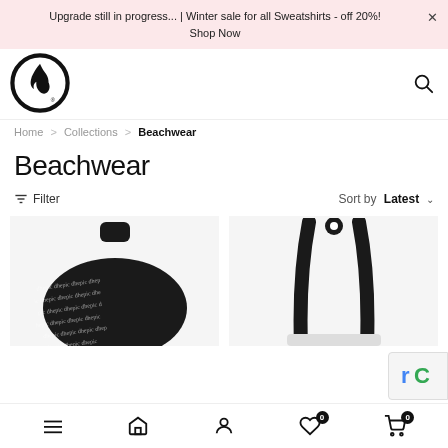Upgrade still in progress... | Winter sale for all Sweatshirts - off 20%! Shop Now
[Figure (logo): Brand logo: flame icon inside a circle, with a registered trademark symbol]
Home > Collections > Beachwear
Beachwear
Filter   Sort by  Latest
[Figure (photo): Black rounded duffel bag with repeating cursive brand text pattern]
[Figure (photo): White tote bag with black handles against white background]